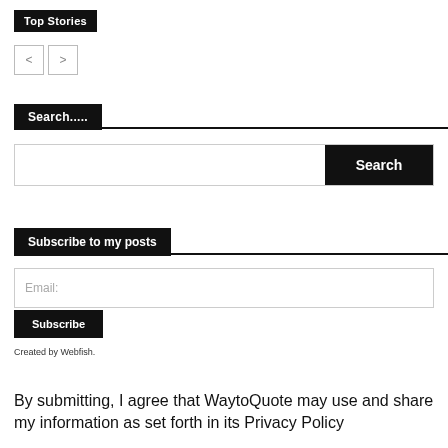Top Stories
[Figure (other): Navigation arrows left and right buttons]
Search.....
[Figure (other): Search input field with Search button]
Subscribe to my posts
[Figure (other): Email input field]
[Figure (other): Subscribe button]
Created by Webfish.
By submitting, I agree that WaytoQuote may use and share my information as set forth in its Privacy Policy